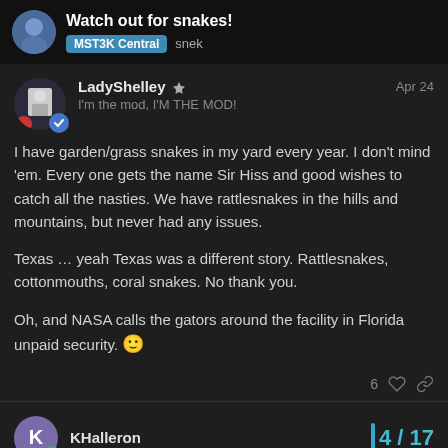Watch out for snakes! — MST3K Central snek
LadyShelley — I'm the mod, I'M THE MOD! — Apr 24
I have garden/grass snakes in my yard every year. I don't mind 'em. Every one gets the name Sir Hiss and good wishes to catch all the nasties. We have rattlesnakes in the hills and mountains, but never had any issues.

Texas … yeah Texas was a different story. Rattlesnakes, cottonmouths, coral snakes. No thank you.

Oh, and NASA calls the gators around the facility in Florida unpaid security. 🙂
6 likes
KHalleron — 4 / 17